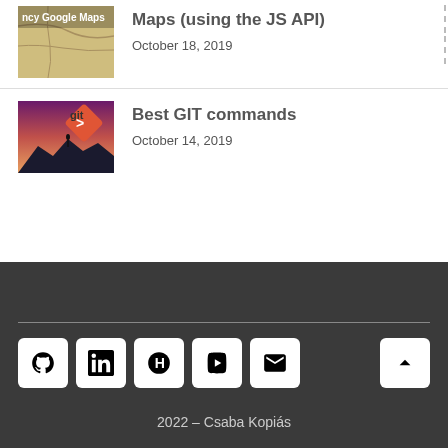Maps (using the JS API)
October 18, 2019
[Figure (illustration): Thumbnail image for fancy Google Maps article showing a map background with text 'ncy Google Maps']
Best GIT commands
October 14, 2019
[Figure (illustration): Thumbnail image for Best GIT commands article showing git logo with red diamond and person on mountain]
2022 – Csaba Kopiás